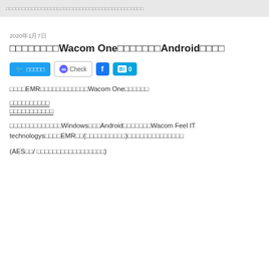□□□□□□□□□□□□□□□□□□□□□□□□□□□□□□□□□□□□
2020年1月7日
□□□□□□□□Wacom One□□□□□□□Android□□□□
[Figure (other): Social sharing buttons: Twitter share button, Mastodon Check button, Facebook button, Hatena Bookmark button with count 0]
□□□□EMR□□□□□□□□□□□□Wacom One□□□□□□
□□□□□□□□□□
□□□□□□□□□□□
□□□□□□□□□□□□□Windows□□□Android□□□□□□□Wacom Feel IT technologys□□□□EMR□□(□□□□□□□□□□)□□□□□□□□□□□□□□
(AES□□/ □□□□□□□□□□□□□□□□□)